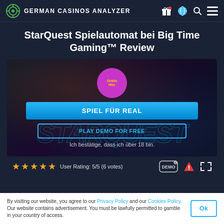German Casinos Analyzer
StarQuest Spielautomat bei Big Time Gaming™ Review
[Figure (screenshot): StarQuest slot game card with pink badge saying 'Gratis Hier', a blue 'SPIEL FÜR REAL' button, a bordered 'PLAY DEMO FOR FREE' button, and text 'Ich bestätige, dass ich über 18 bin.' over a dark space-themed background with StarQuest logo text.]
User Rating: 5/5 (6 votes)
By visiting our website, you agree to our Privacy Policy and our Cookies Policy. Our website contains advertisement. You must be lawfully permitted to gamble in your country of access.